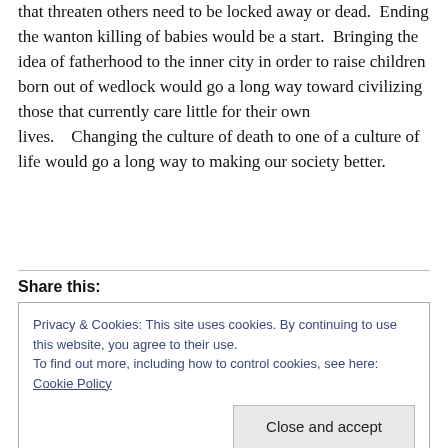that threaten others need to be locked away or dead.  Ending the wanton killing of babies would be a start.  Bringing the idea of fatherhood to the inner city in order to raise children born out of wedlock would go a long way toward civilizing those that currently care little for their own lives.    Changing the culture of death to one of a culture of life would go a long way to making our society better.
Share this:
Privacy & Cookies: This site uses cookies. By continuing to use this website, you agree to their use.
To find out more, including how to control cookies, see here: Cookie Policy